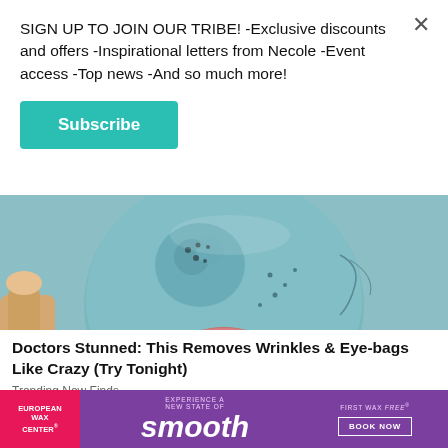SIGN UP TO JOIN OUR TRIBE! -Exclusive discounts and offers -Inspirational letters from Necole -Event access -Top news -And so much more!
Subscribe
[Figure (photo): Close-up of a person's face covered in a blue-grey clay/charcoal face mask, with lips visible and a hand touching the face]
Doctors Stunned: This Removes Wrinkles & Eye-bags Like Crazy (Try Tonight)
Trending New Finds
[Figure (infographic): European Wax Center advertisement banner. Pink left section with logo, purple center with 'smooth' in large italic text and 'Experience a new state of', right section with 'First Wax free - Book Now' button]